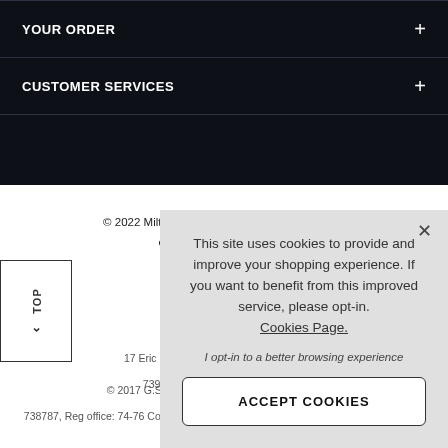YOUR ORDER
CUSTOMER SERVICES
© 2022 Miltons Diamonds. All Rights Reserved.
eCommerce by Visualsoft
This site uses cookies to provide and improve your shopping experience. If you want to benefit from this improved service, please opt-in. Cookies Page.
I opt-in to a better browsing experience
ACCEPT COOKIES
17 Eric G Milton Ltd
739805, Re
© 2017 G.S.Milton Ltd,
738787, Reg office: 74-76 County Road, Liverpool L4 5QN